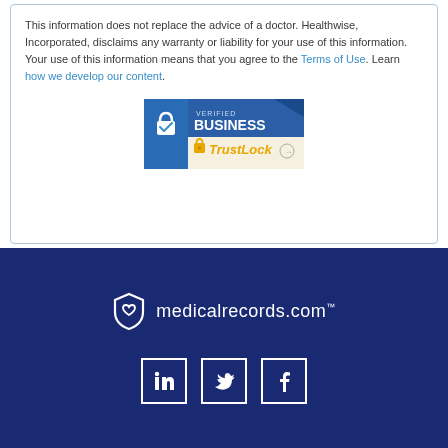This information does not replace the advice of a doctor. Healthwise, Incorporated, disclaims any warranty or liability for your use of this information. Your use of this information means that you agree to the Terms of Use. Learn how we develop our content.
[Figure (logo): TrustLock Verified Business badge with blue header and gold lock icon]
[Figure (logo): medicalrecords.com logo with shield and heart icon on dark blue background]
[Figure (infographic): Social media icon buttons for LinkedIn, Twitter, and Facebook on dark blue background]